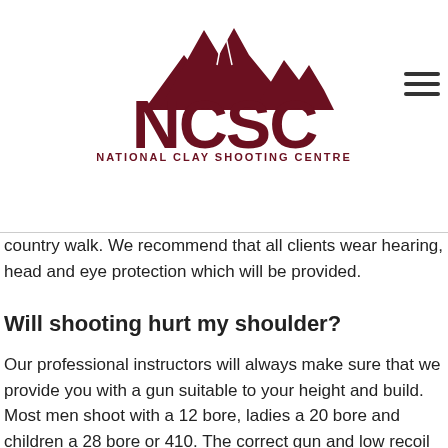[Figure (logo): NCSC National Clay Shooting Centre logo with mountain/volcano silhouette icon above large NCSC letters and text below]
country walk. We recommend that all clients wear hearing, head and eye protection which will be provided.
Will shooting hurt my shoulder?
Our professional instructors will always make sure that we provide you with a gun suitable to your height and build. Most men shoot with a 12 bore, ladies a 20 bore and children a 28 bore or 410. The correct gun and low recoil cartridges, together with the correct gun mounting position, will all ensure you enjoy your shoot.